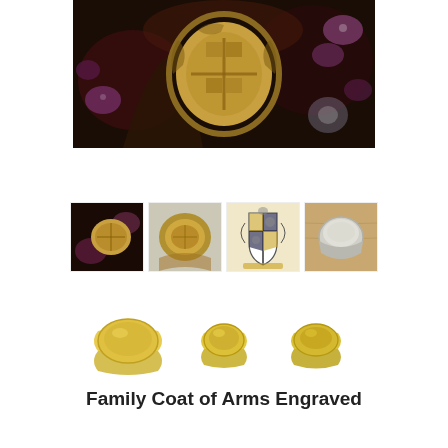[Figure (photo): Close-up photo of a gold signet ring with engraved family coat of arms, surrounded by jewels and gems in dark background]
[Figure (photo): Thumbnail 1: Gold signet ring with engraved design, dark background with jewels]
[Figure (photo): Thumbnail 2: Gold signet ring with engraved coat of arms, side view]
[Figure (photo): Thumbnail 3: Illustrated family coat of arms with shield, cross, animals, and banner on cream background]
[Figure (photo): Thumbnail 4: Plain signet ring on wooden surface]
[Figure (photo): Three gold signet rings shown in different angles/sizes]
Family Coat of Arms Engraved